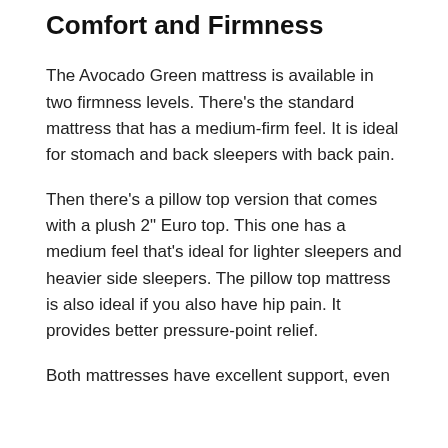Comfort and Firmness
The Avocado Green mattress is available in two firmness levels. There’s the standard mattress that has a medium-firm feel. It is ideal for stomach and back sleepers with back pain.
Then there’s a pillow top version that comes with a plush 2” Euro top. This one has a medium feel that’s ideal for lighter sleepers and heavier side sleepers. The pillow top mattress is also ideal if you also have hip pain. It provides better pressure-point relief.
Both mattresses have excellent support, even